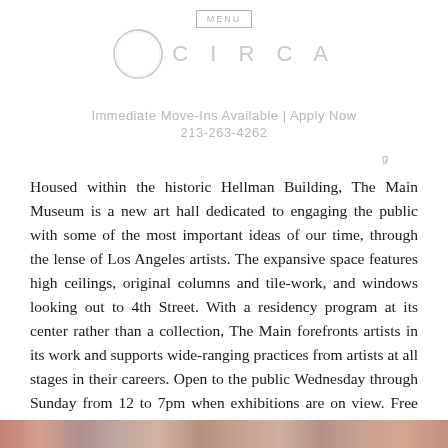MENU
[Figure (logo): CIRCA apartment logo with circle emblem and text CIRCA]
Immediate Move-Ins Available | Apply Now
213-263-4262
Housed within the historic Hellman Building, The Main Museum is a new art hall dedicated to engaging the public with some of the most important ideas of our time, through the lense of Los Angeles artists. The expansive space features high ceilings, original columns and tile-work, and windows looking out to 4th Street. With a residency program at its center rather than a collection, The Main forefronts artists in its work and supports wide-ranging practices from artists at all stages in their careers. Open to the public Wednesday through Sunday from 12 to 7pm when exhibitions are on view. Free admission always.
[Figure (photo): Partial bottom strip showing a colorful image, likely an artwork or exhibition photo]